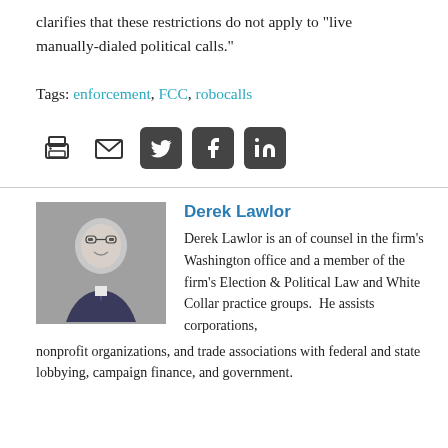clarifies that these restrictions do not apply to "live manually-dialed political calls."
Tags: enforcement, FCC, robocalls
[Figure (other): Social sharing icons: print, email, Twitter, Facebook, LinkedIn]
Derek Lawlor
[Figure (photo): Headshot photo of Derek Lawlor, a man in a suit with glasses]
Derek Lawlor is an of counsel in the firm's Washington office and a member of the firm's Election & Political Law and White Collar practice groups. He assists corporations, nonprofit organizations, and trade associations with federal and state lobbying, campaign finance, and government.